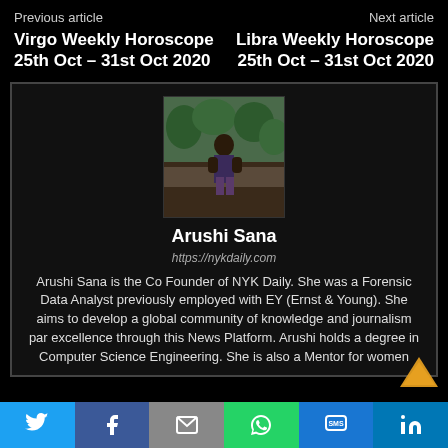Previous article    Next article
Virgo Weekly Horoscope 25th Oct – 31st Oct 2020
Libra Weekly Horoscope 25th Oct – 31st Oct 2020
[Figure (photo): Author photo of Arushi Sana seated outdoors in front of greenery]
Arushi Sana
https://nykdaily.com
Arushi Sana is the Co Founder of NYK Daily. She was a Forensic Data Analyst previously employed with EY (Ernst & Young). She aims to develop a global community of knowledge and journalism par excellence through this News Platform. Arushi holds a degree in Computer Science Engineering. She is also a Mentor for women
Twitter | Facebook | Email | WhatsApp | SMS | LinkedIn